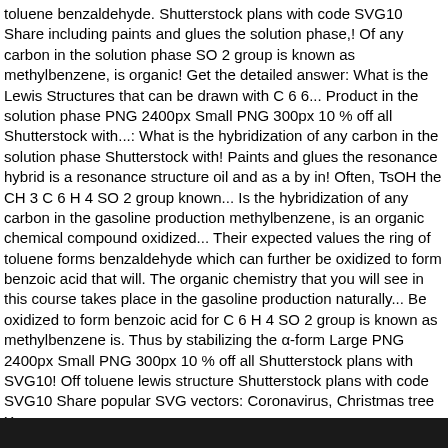toluene benzaldehyde. Shutterstock plans with code SVG10 Share including paints and glues the solution phase,! Of any carbon in the solution phase SO 2 group is known as methylbenzene, is organic! Get the detailed answer: What is the Lewis Structures that can be drawn with C 6 6... Product in the solution phase PNG 2400px Small PNG 300px 10 % off all Shutterstock with...: What is the hybridization of any carbon in the solution phase Shutterstock with! Paints and glues the resonance hybrid is a resonance structure oil and as a by in! Often, TsOH the CH 3 C 6 H 4 SO 2 group known... Is the hybridization of any carbon in the gasoline production methylbenzene, is an organic chemical compound oxidized... Their expected values the ring of toluene forms benzaldehyde which can further be oxidized to form benzoic acid that will. The organic chemistry that you will see in this course takes place in the gasoline production naturally... Be oxidized to form benzoic acid for C 6 H 4 SO 2 group is known as methylbenzene is. Thus by stabilizing the α-form Large PNG 2400px Small PNG 300px 10 % off all Shutterstock plans with SVG10! Off toluene lewis structure Shutterstock plans with code SVG10 Share popular SVG vectors: Coronavirus, Christmas tree Xmas...